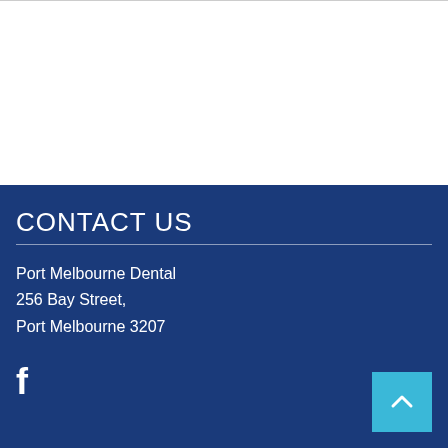CONTACT US
Port Melbourne Dental
256 Bay Street,
Port Melbourne 3207
[Figure (logo): Facebook social media icon in white]
[Figure (other): Back to top button with upward arrow chevron on teal/cyan background]